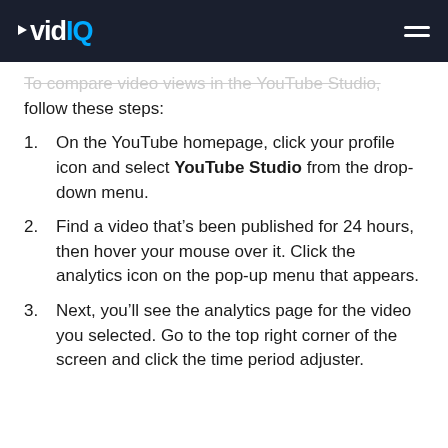vidIQ
To compare video views in the YouTube Studio, follow these steps:
On the YouTube homepage, click your profile icon and select YouTube Studio from the drop-down menu.
Find a video that’s been published for 24 hours, then hover your mouse over it. Click the analytics icon on the pop-up menu that appears.
Next, you’ll see the analytics page for the video you selected. Go to the top right corner of the screen and click the time period adjuster.